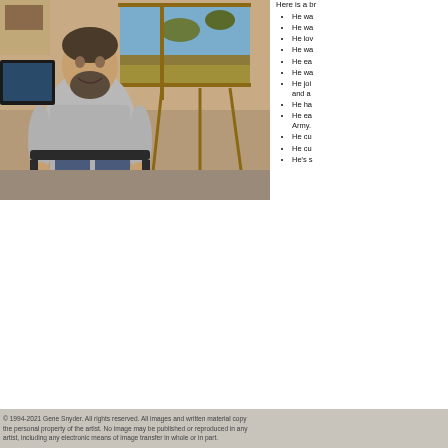[Figure (photo): A man with a beard wearing a grey sweater sitting in a chair in front of an easel with a landscape painting, in an art studio setting.]
Here is a br
He wa
He wa
He lov
He wa
He ea
He wa
He joi and a
He ha
He ea Army.
He cu
He cu
He's s
© 1994-2021 Gene Snyder. All rights reserved. All images and written material copy the personal property of the artist. No image may be published or reproduced in any artist, including any electronic means of image transfer in whole or in part.